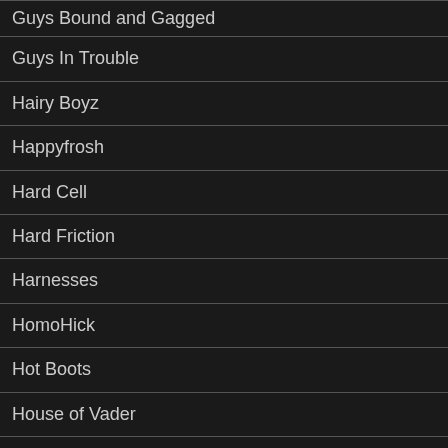Guys Bound and Gagged
Guys In Trouble
Hairy Boyz
Happyfrosh
Hard Cell
Hard Friction
Harnesses
HomoHick
Hot Boots
House of Vader
How to Kill a Superhero
Inmate 1506
Instigator Magazine